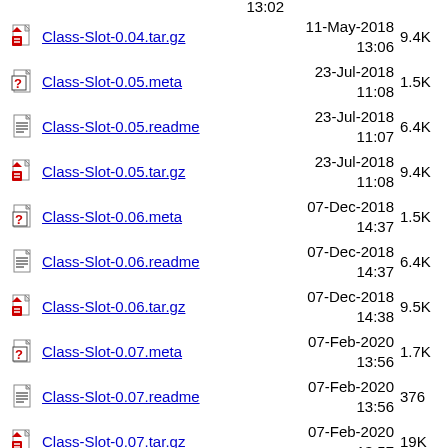Class-Slot-0.04.tar.gz  11-May-2018 13:06  9.4K
Class-Slot-0.05.meta  23-Jul-2018 11:08  1.5K
Class-Slot-0.05.readme  23-Jul-2018 11:07  6.4K
Class-Slot-0.05.tar.gz  23-Jul-2018 11:08  9.4K
Class-Slot-0.06.meta  07-Dec-2018 14:37  1.5K
Class-Slot-0.06.readme  07-Dec-2018 14:37  6.4K
Class-Slot-0.06.tar.gz  07-Dec-2018 14:38  9.5K
Class-Slot-0.07.meta  07-Feb-2020 13:56  1.7K
Class-Slot-0.07.readme  07-Feb-2020 13:56  376
Class-Slot-0.07.tar.gz  07-Feb-2020 13:57  19K
Class-Slot-0.08.meta  07-Feb-2020 15:42  1.7K